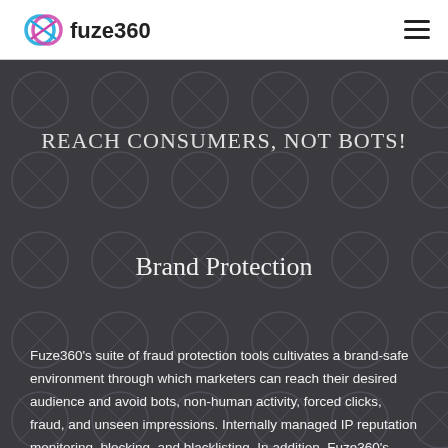[Figure (logo): Fuze360 logo with colorful infinity-style icon and bold text 'fuze360']
REACH CONSUMERS, NOT BOTS!
Brand Protection
Fuze360's suite of fraud protection tools cultivates a brand-safe environment through which marketers can reach their desired audience and avoid bots, non-human activity, forced clicks, fraud, and unseen impressions. Internally managed IP reputation monitoring, blocking, and blacklisting. In addition, Fuze360's Audience Platform is integrated with industry leading fraud protection services including DoubleVerify, Forensiq, Integral Ad